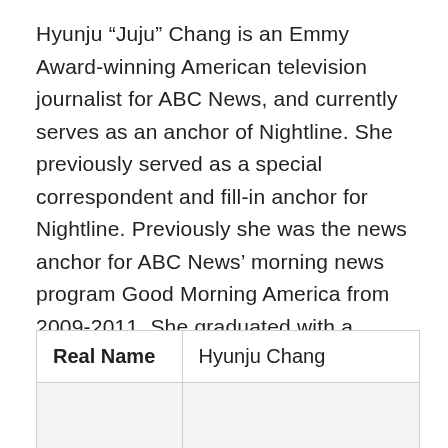Hyunju “Juju” Chang is an Emmy Award-winning American television journalist for ABC News, and currently serves as an anchor of Nightline. She previously served as a special correspondent and fill-in anchor for Nightline. Previously she was the news anchor for ABC News’ morning news program Good Morning America from 2009-2011. She graduated with a political science and communications degree from Stanford University.
| Real Name |  |
| --- | --- |
| Real Name | Hyunju Chang |
|  |  |